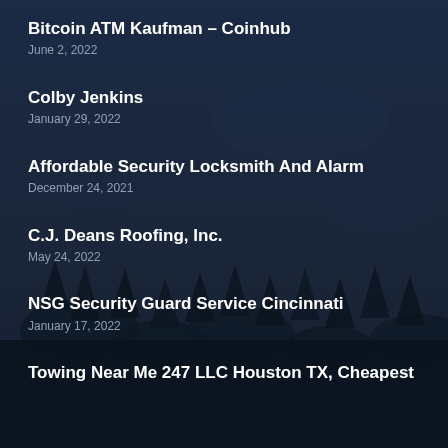Bitcoin ATM Kaufman – Coinhub
June 2, 2022
Colby Jenkins
January 29, 2022
Affordable Security Locksmith And Alarm
December 24, 2021
C.J. Deans Roofing, Inc.
May 24, 2022
NSG Security Guard Service Cincinnati
January 17, 2022
Towing Near Me 247 LLC Houston TX, Cheapest